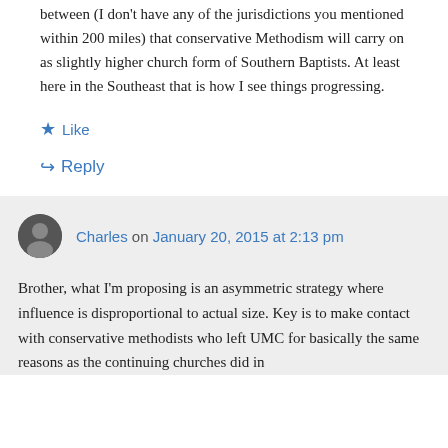between (I don't have any of the jurisdictions you mentioned within 200 miles) that conservative Methodism will carry on as slightly higher church form of Southern Baptists. At least here in the Southeast that is how I see things progressing.
Like
Reply
Charles on January 20, 2015 at 2:13 pm
Brother, what I'm proposing is an asymmetric strategy where influence is disproportional to actual size. Key is to make contact with conservative methodists who left UMC for basically the same reasons as the continuing churches did in